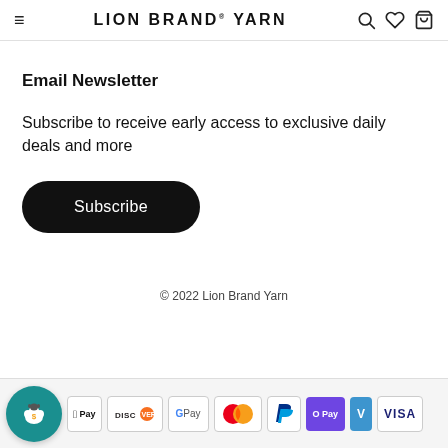LION BRAND® YARN
Email Newsletter
Subscribe to receive early access to exclusive daily deals and more
[Figure (other): Black pill-shaped Subscribe button]
© 2022 Lion Brand Yarn
[Figure (other): Payment method icons: Apple Pay, Discover, Google Pay, Mastercard, PayPal, OPay, Venmo, Visa; with sheep chat icon]